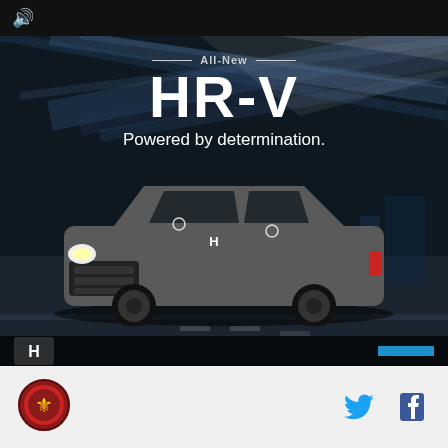[Figure (screenshot): Honda HR-V advertisement showing the vehicle driving on a road at night with motion blur background. Text reads 'All-New HR-V Powered by determination.' Honda logo visible at bottom left of ad. A blue CTA button at bottom right.]
[Figure (logo): Organization circular logo/seal with red and black design at bottom left of page footer]
[Figure (logo): Twitter bird icon in blue, social media link in footer]
[Figure (logo): Facebook 'f' icon in dark blue, social media link in footer]